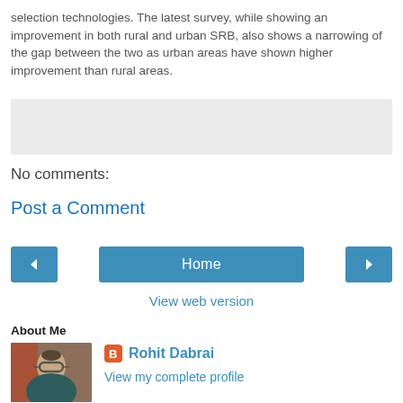selection technologies. The latest survey, while showing an improvement in both rural and urban SRB, also shows a narrowing of the gap between the two as urban areas have shown higher improvement than rural areas.
[Figure (other): A light gray comment input box area]
No comments:
Post a Comment
[Figure (other): Navigation row with left arrow button, Home button, and right arrow button]
View web version
About Me
[Figure (photo): Profile photo of Rohit Dabrai, a person with glasses]
Rohit Dabrai
View my complete profile